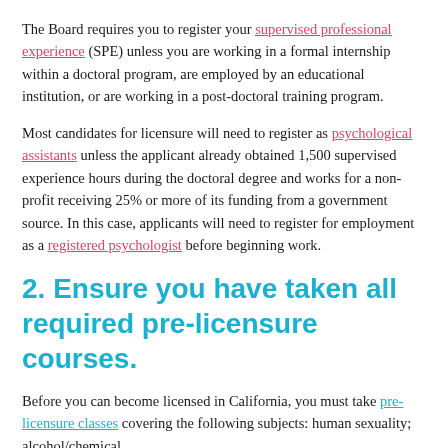The Board requires you to register your supervised professional experience (SPE) unless you are working in a formal internship within a doctoral program, are employed by an educational institution, or are working in a post-doctoral training program.
Most candidates for licensure will need to register as psychological assistants unless the applicant already obtained 1,500 supervised experience hours during the doctoral degree and works for a non-profit receiving 25% or more of its funding from a government source. In this case, applicants will need to register for employment as a registered psychologist before beginning work.
2. Ensure you have taken all required pre-licensure courses.
Before you can become licensed in California, you must take pre-licensure classes covering the following subjects: human sexuality; alcohol/chemical